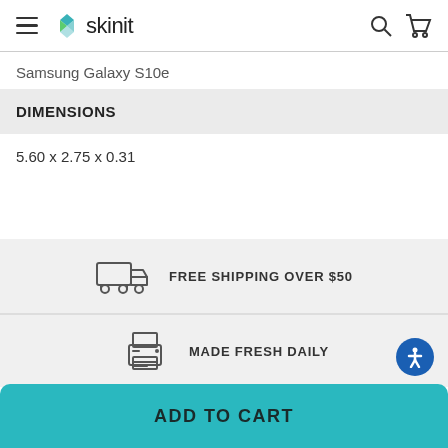skinit
Samsung Galaxy S10e
DIMENSIONS
5.60 x 2.75 x 0.31
[Figure (infographic): Truck icon with text: FREE SHIPPING OVER $50]
[Figure (infographic): Printer icon with text: MADE FRESH DAILY]
ADD TO CART